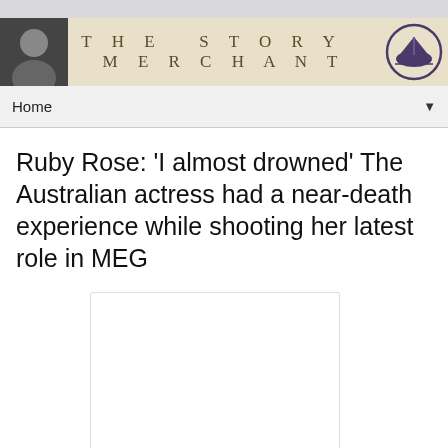[Figure (illustration): The Story Merchant website banner with a man's photo on left, serif text 'THE STORY MERCHANT' in center on beige background, and a ship logo on the right]
Home ▼
Ruby Rose: 'I almost drowned' The Australian actress had a near-death experience while shooting her latest role in MEG
[Figure (photo): Empty white image placeholder with light border]